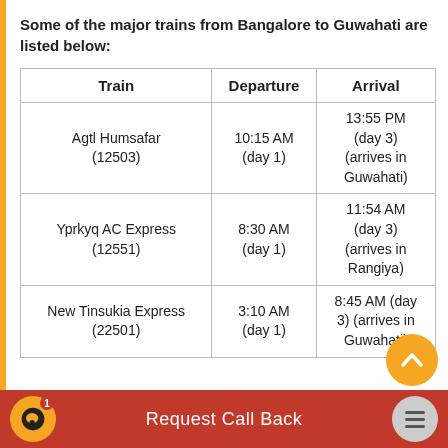Some of the major trains from Bangalore to Guwahati are listed below:
| Train | Departure | Arrival |
| --- | --- | --- |
| Agtl Humsafar (12503) | 10:15 AM (day 1) | 13:55 PM (day 3) (arrives in Guwahati) |
| Yprkyq AC Express (12551) | 8:30 AM (day 1) | 11:54 AM (day 3) (arrives in Rangiya) |
| New Tinsukia Express (22501) | 3:10 AM (day 1) | 8:45 AM (day 3) (arrives in Guwahati) |
Request Call Back